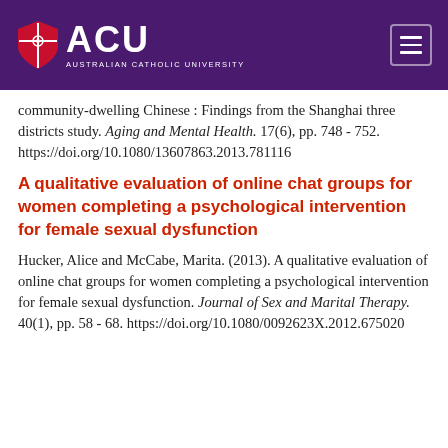ACU — Australian Catholic University
community-dwelling Chinese : Findings from the Shanghai three districts study. Aging and Mental Health. 17(6), pp. 748 - 752. https://doi.org/10.1080/13607863.2013.781116
A qualitative evaluation of online chat groups for women completing a psychological intervention for female sexual dysfunction
Hucker, Alice and McCabe, Marita. (2013). A qualitative evaluation of online chat groups for women completing a psychological intervention for female sexual dysfunction. Journal of Sex and Marital Therapy. 40(1), pp. 58 - 68. https://doi.org/10.1080/0092623X.2012.675020